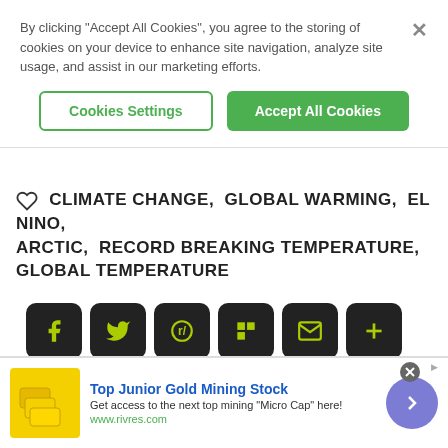By clicking "Accept All Cookies", you agree to the storing of cookies on your device to enhance site navigation, analyze site usage, and assist in our marketing efforts.
Cookies Settings | Accept All Cookies
CLIMATE CHANGE,  GLOBAL WARMING,  EL NINO,  ARCTIC,  RECORD BREAKING TEMPERATURE,  GLOBAL TEMPERATURE
[Figure (infographic): Social share buttons: Facebook, Twitter, Reddit, Flipboard, Email, More (+)]
DISCUSS (0 COMMENTS)
[Figure (infographic): Advertisement banner: Top Junior Gold Mining Stock - Get access to the next top mining 'Micro Cap' here! www.rivres.com]